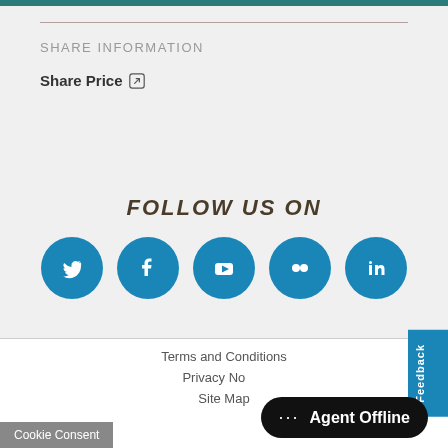SHARE INFORMATION
Share Price ↗
FOLLOW US ON
[Figure (infographic): Five social media icons (Twitter, Facebook, YouTube, Flickr, LinkedIn) as blue circles with white logos]
Terms and Conditions
Privacy No...
Site Map
Cookie Consent
Agent Offline